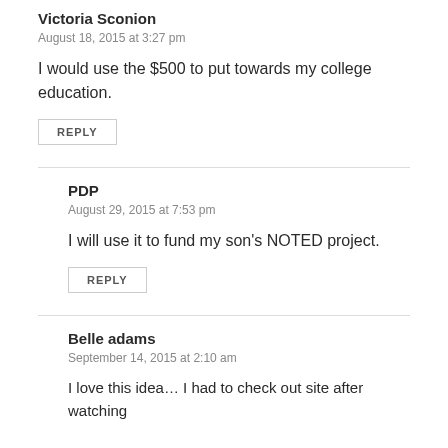Victoria Sconion
August 18, 2015 at 3:27 pm
I would use the $500 to put towards my college education.
REPLY
PDP
August 29, 2015 at 7:53 pm
I will use it to fund my son's NOTED project.
REPLY
Belle adams
September 14, 2015 at 2:10 am
I love this idea... I had to check out site after watching...